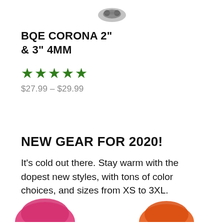[Figure (photo): Small product photo of a bike part (BQE Corona 2" & 3" 4MM) at top of page]
BQE CORONA 2" & 3" 4MM
★★★★★
$27.99 – $29.99
NEW GEAR FOR 2020!
It's cold out there. Stay warm with the dopest new styles, with tons of color choices, and sizes from XS to 3XL.
[Figure (photo): Bottom portion of two clothing items — a pink/magenta garment on the left and an orange garment on the right]